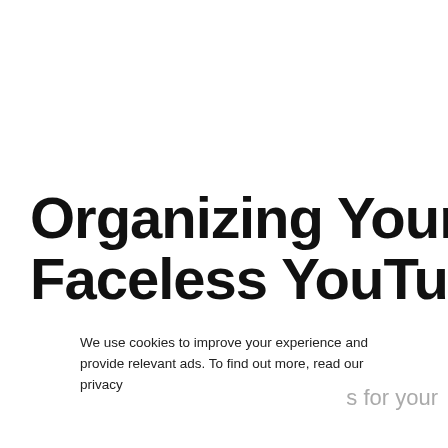Organizing Your Faceless YouTube Video
We use cookies to improve your experience and provide relevant ads. To find out more, read our privacy
s for your